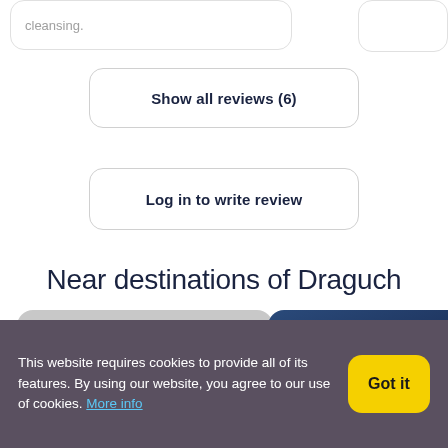cleansing.
Show all reviews (6)
Log in to write review
Near destinations of Draguch
[Figure (photo): Gray placeholder card for a nearby destination]
[Figure (photo): Dark blue gradient placeholder card for a nearby destination]
This website requires cookies to provide all of its features. By using our website, you agree to our use of cookies. More info